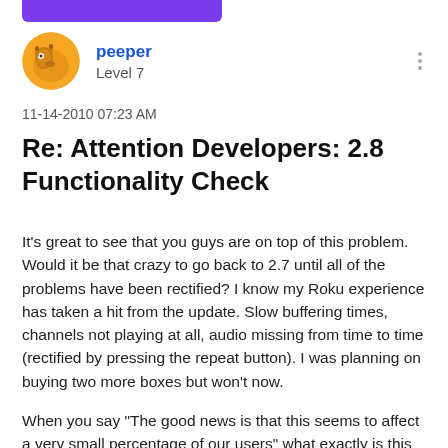[Figure (illustration): User avatar: circular avatar with a cartoon giraffe graphic on an orange-yellow background]
peeper
Level 7
11-14-2010 07:23 AM
Re: Attention Developers: 2.8 Functionality Check
It's great to see that you guys are on top of this problem. Would it be that crazy to go back to 2.7 until all of the problems have been rectified? I know my Roku experience has taken a hit from the update. Slow buffering times, channels not playing at all, audio missing from time to time (rectified by pressing the repeat button). I was planning on buying two more boxes but won't now.
When you say "The good news is that this seems to affect a very small percentage of our users" what exactly is this based on? Are you basing this solely on feedback here? I don't think that's a great